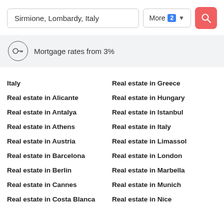Sirmione, Lombardy, Italy
More 2
Mortgage rates from 3%
Italy
Real estate in Alicante
Real estate in Antalya
Real estate in Athens
Real estate in Austria
Real estate in Barcelona
Real estate in Berlin
Real estate in Cannes
Real estate in Costa Blanca
Real estate in Greece
Real estate in Hungary
Real estate in Istanbul
Real estate in Italy
Real estate in Limassol
Real estate in London
Real estate in Marbella
Real estate in Munich
Real estate in Nice